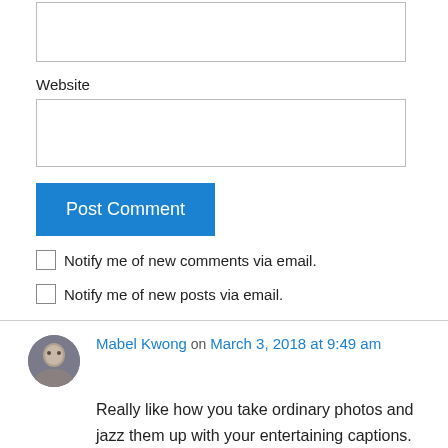[Figure (other): Email input field (text box)]
Website
[Figure (other): Website input field (text box)]
[Figure (other): Post Comment button (blue)]
Notify me of new comments via email.
Notify me of new posts via email.
[Figure (photo): Avatar photo of Mabel Kwong]
Mabel Kwong on March 3, 2018 at 9:49 am
Really like how you take ordinary photos and jazz them up with your entertaining captions.